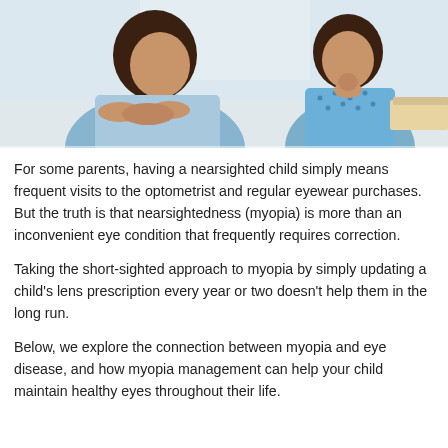[Figure (photo): A woman and a young girl sitting at a table. Both appear thoughtful, with hands near their faces. The setting appears to be a bright indoor environment.]
For some parents, having a nearsighted child simply means frequent visits to the optometrist and regular eyewear purchases. But the truth is that nearsightedness (myopia) is more than an inconvenient eye condition that frequently requires correction.
Taking the short-sighted approach to myopia by simply updating a child's lens prescription every year or two doesn't help them in the long run.
Below, we explore the connection between myopia and eye disease, and how myopia management can help your child maintain healthy eyes throughout their life.